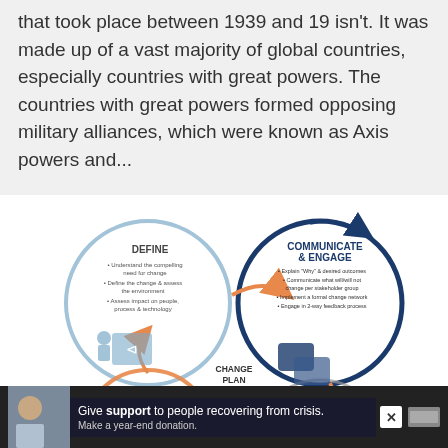that took place between 1939 and 19 isn't. It was made up of a vast majority of global countries, especially countries with great powers. The countries with great powers formed opposing military alliances, which were known as Axis powers and...
[Figure (flowchart): Circular change management diagram with four interconnected circles. Top-left circle: DEFINE (Understand the compelling need for change; Define the change & assess the environment; Assess impact on people, process & technology). Top-right circle: COMMUNICATE & ENGAGE (Explain 'Why' & desired outcomes; Communicate what will/will not change per stakeholder group; Implement a formal change network; Engage in 2-way feedback process). Center: CHANGE PLAN (Communications; Engagement; Training; Support; Metrics; Transition). Bottom: partially visible RESPOND circle. Orange arrows connect circles in a cycle.]